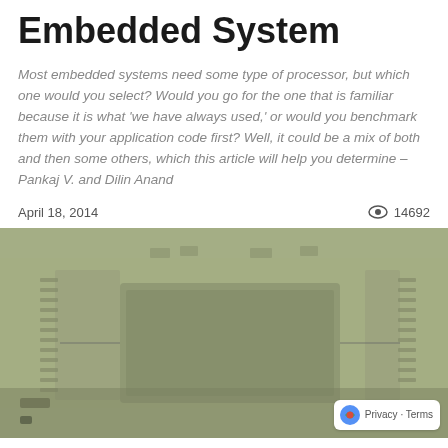Embedded System
Most embedded systems need some type of processor, but which one would you select? Would you go for the one that is familiar because it is what 'we have always used,' or would you benchmark them with your application code first? Well, it could be a mix of both and then some others, which this article will help you determine – Pankaj V. and Dilin Anand
April 18, 2014   👁 14692
[Figure (photo): Close-up photograph of a green-tinted printed circuit board (PCB) with chips, connectors, and components visible. Image has a muted olive/green color tone.]